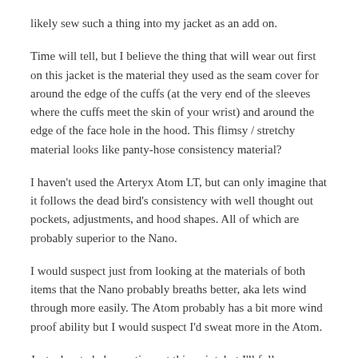likely sew such a thing into my jacket as an add on.
Time will tell, but I believe the thing that will wear out first on this jacket is the material they used as the seam cover for around the edge of the cuffs (at the very end of the sleeves where the cuffs meet the skin of your wrist) and around the edge of the face hole in the hood. This flimsy / stretchy material looks like panty-hose consistency material?
I haven't used the Arteryx Atom LT, but can only imagine that it follows the dead bird's consistency with well thought out pockets, adjustments, and hood shapes. All of which are probably superior to the Nano.
I would suspect just from looking at the materials of both items that the Nano probably breaths better, aka lets wind through more easily. The Atom probably has a bit more wind proof ability but I would suspect I'd sweat more in the Atom.
Just educated observations at this point, but I'll follow up later once I get some more use out of it.